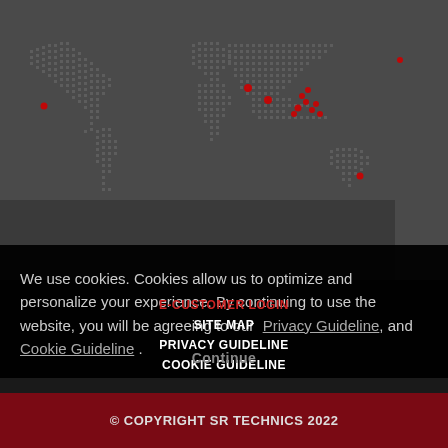[Figure (map): Dotted world map on dark grey background with red location markers highlighting various locations across Europe, Middle East, Asia, and Australia]
We use cookies. Cookies allow us to optimize and personalize your experience. By continuing to use the website, you will be agreeing to our Privacy Guideline, and Cookie Guideline .
E-CUSTOMER LOGIN
SITE MAP
PRIVACY GUIDELINE
COOKIE GUIDELINE
Continue
© COPYRIGHT SR TECHNICS 2022